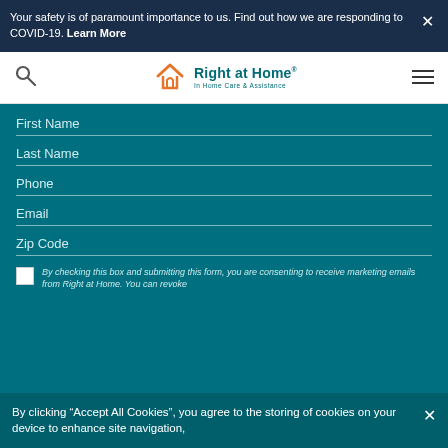Your safety is of paramount importance to us. Find out how we are responding to COVID-19. Learn More
[Figure (logo): Right at Home - In Home Care & Assistance logo with orange house icon]
First Name
Last Name
Phone
Email
Zip Code
By checking this box and submitting this form, you are consenting to receive marketing emails from Right at Home. You can revoke
By clicking "Accept All Cookies", you agree to the storing of cookies on your device to enhance site navigation,